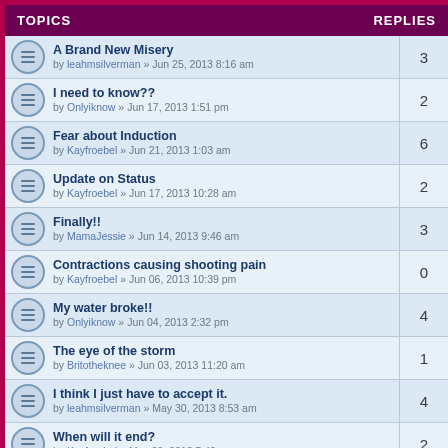| TOPICS | REPLIES |
| --- | --- |
| A Brand New Misery
by leahmsilverman » Jun 25, 2013 8:16 am | 3 |
| I need to know??
by Onlyiknow » Jun 17, 2013 1:51 pm | 2 |
| Fear about Induction
by Kayfroebel » Jun 21, 2013 1:03 am | 6 |
| Update on Status
by Kayfroebel » Jun 17, 2013 10:28 am | 2 |
| Finally!!
by MamaJessie » Jun 14, 2013 9:46 am | 3 |
| Contractions causing shooting pain
by Kayfroebel » Jun 06, 2013 10:39 pm | 0 |
| My water broke!!
by Onlyiknow » Jun 04, 2013 2:32 pm | 4 |
| The eye of the storm
by Britotheknee » Jun 03, 2013 11:20 am | 1 |
| I think I just have to accept it.
by leahmsilverman » May 30, 2013 8:53 am | 4 |
| When will it end?
by Kayfroebel » May 29, 2013 5:42 pm | 2 |